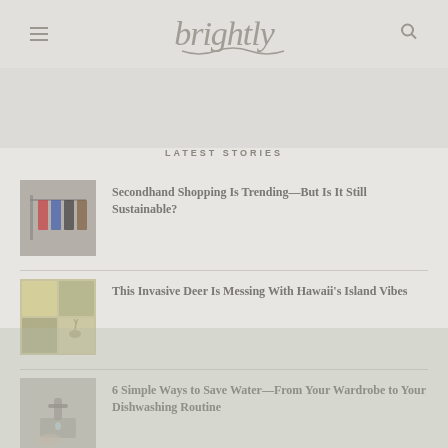brightly
LATEST STORIES
Secondhand Shopping Is Trending—But Is It Still Sustainable?
This Invasive Deer Is Messing With Hawaii's Island Vibes
6 Simple Ways to Save Water—From Your Wardrobe to Your Dishwashing Routine